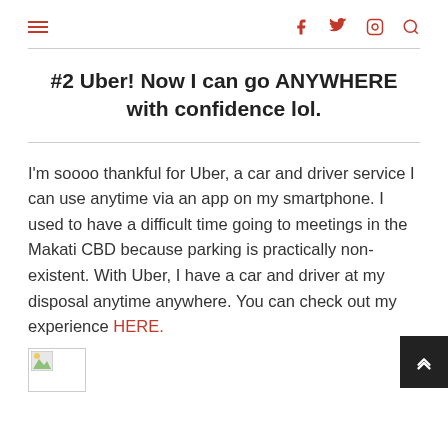≡  f  🐦  📷  🔍
#2 Uber! Now I can go ANYWHERE with confidence lol.
I'm soooo thankful for Uber, a car and driver service I can use anytime via an app on my smartphone. I used to have a difficult time going to meetings in the Makati CBD because parking is practically non-existent. With Uber, I have a car and driver at my disposal anytime anywhere. You can check out my experience HERE.
[Figure (photo): Partially loaded image placeholder at bottom of page]